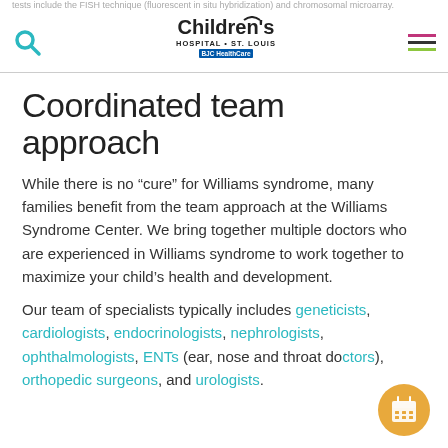tests include the FISH technique (fluorescent in situ hybridization) and chromosomal microarray.
Coordinated team approach
While there is no “cure” for Williams syndrome, many families benefit from the team approach at the Williams Syndrome Center. We bring together multiple doctors who are experienced in Williams syndrome to work together to maximize your child’s health and development.
Our team of specialists typically includes geneticists, cardiologists, endocrinologists, nephrologists, ophthalmologists, ENTs (ear, nose and throat doctors), orthopedic surgeons, and urologists.